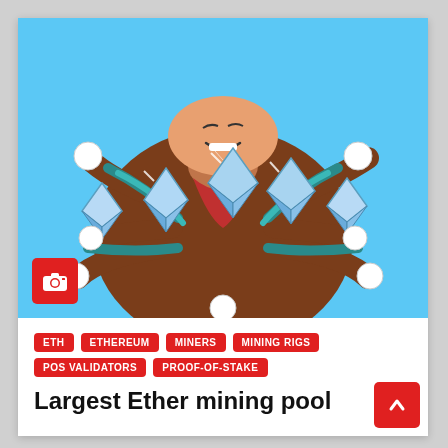[Figure (illustration): Comic-style illustration of a cartoon character with multiple arms/hands holding several large crystal/diamond Ethereum logo shapes (blue geometric crystals), wearing a brown shirt, set against a light blue background. The character is grinning and gripping the ETH crystals tightly.]
ETH
ETHEREUM
MINERS
MINING RIGS
POS VALIDATORS
PROOF-OF-STAKE
Largest Ether mining pool